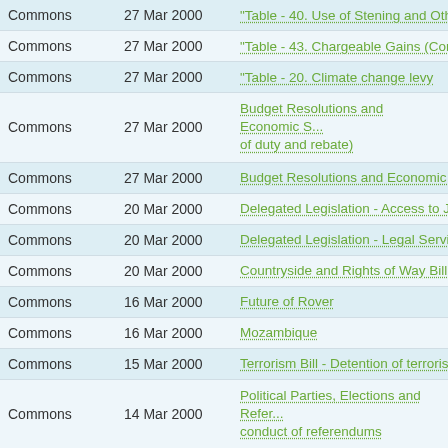| House | Date | Title |
| --- | --- | --- |
| Commons | 27 Mar 2000 | "Table - 40. Use of Stening and Othe... |
| Commons | 27 Mar 2000 | "Table - 43. Chargeable Gains (Com... |
| Commons | 27 Mar 2000 | "Table - 20. Climate change levy |
| Commons | 27 Mar 2000 | Budget Resolutions and Economic S... of duty and rebate) |
| Commons | 27 Mar 2000 | Budget Resolutions and Economic S... |
| Commons | 20 Mar 2000 | Delegated Legislation - Access to Ju... |
| Commons | 20 Mar 2000 | Delegated Legislation - Legal Servic... |
| Commons | 20 Mar 2000 | Countryside and Rights of Way Bill |
| Commons | 16 Mar 2000 | Future of Rover |
| Commons | 16 Mar 2000 | Mozambique |
| Commons | 15 Mar 2000 | Terrorism Bill - Detention of terrorists... |
| Commons | 14 Mar 2000 | Political Parties, Elections and Refer... conduct of referendums |
| Commons | 14 Mar 2000 | Political Parties, Elections and Refer... on referendum expenses by permitte... |
| Commons | 14 Mar 2000 | Political Parties, Elections and Refer... Northern Ireland parties |
| Commons | 13 Mar 2000 | Political Parties, Elections and Refer... electoral and democratic systems |